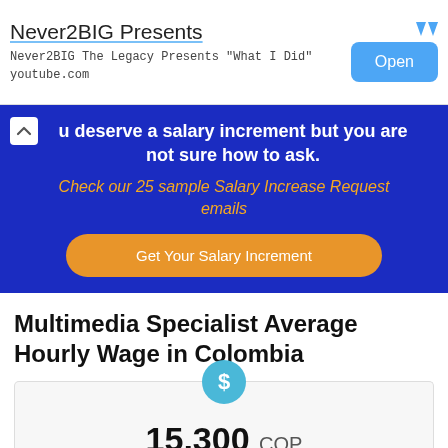[Figure (screenshot): Ad banner for Never2BIG Presents on YouTube with an Open button]
You deserve a salary increment but you are not sure how to ask. Check our 25 sample Salary Increase Request emails
Get Your Salary Increment
Multimedia Specialist Average Hourly Wage in Colombia
15,300 COP